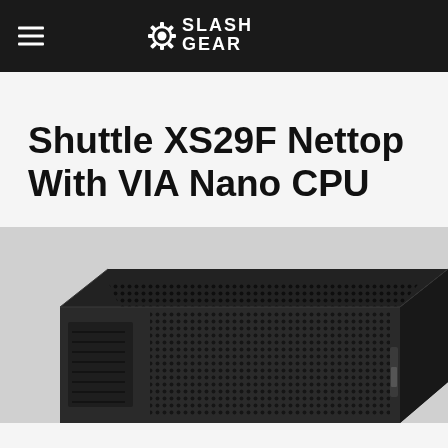SlashGear
Shuttle XS29F Nettop With VIA Nano CPU
[Figure (photo): A black Shuttle XS29F nettop mini PC with perforated mesh ventilation on top and side, shown at an angle against a white background.]